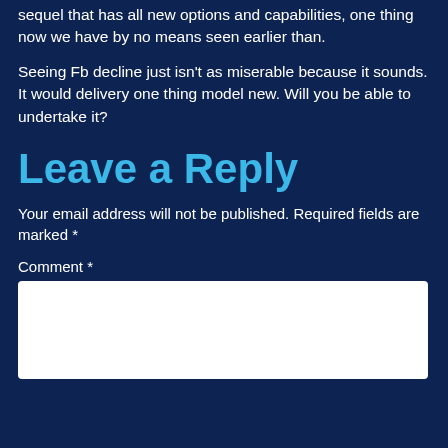sequel that has all new options and capabilities, one thing now we have by no means seen earlier than.
Seeing Fb decline just isn't as miserable because it sounds. It would delivery one thing model new. Will you be able to undertake it?
Leave a Reply
Your email address will not be published. Required fields are marked *
Comment *